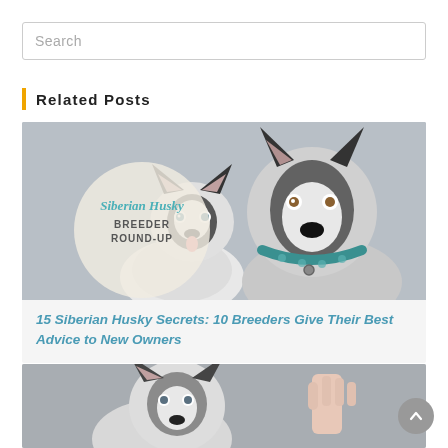Search
Related Posts
[Figure (photo): Two Siberian Huskies — a puppy and an adult — with a circular overlay text reading 'Siberian Husky BREEDER ROUND-UP']
15 Siberian Husky Secrets: 10 Breeders Give Their Best Advice to New Owners
[Figure (photo): A Siberian Husky puppy looking up at a human hand giving a high-five gesture]